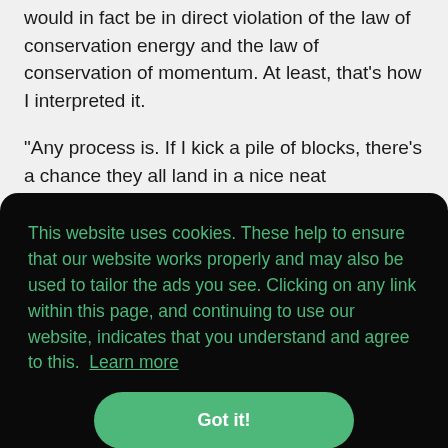would in fact be in direct violation of the law of conservation energy and the law of conservation of momentum. At least, that's how I interpreted it.
"Any process is. If I kick a pile of blocks, there's a chance they all land in a nice neat Parthenon. The kick isn't even necessary. It's all just really improbable. The 2nd law is all
This website uses cookies. These help to ensure that our website works properly and may also be used to tailor the ads you see. Clicking on any link within this page, and continuing to use our website, indicates that you understand and agree to this.  Learn more
Got it!